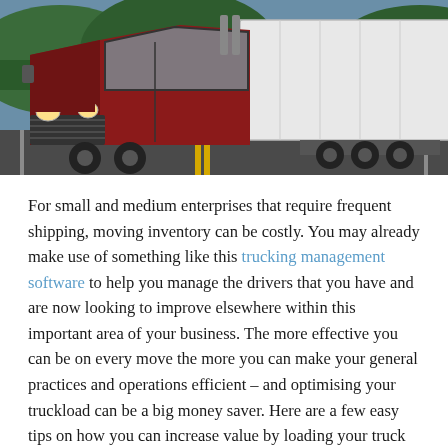[Figure (photo): A red semi-truck with white trailer driving on a highway road with green trees and hills in the background.]
For small and medium enterprises that require frequent shipping, moving inventory can be costly. You may already make use of something like this trucking management software to help you manage the drivers that you have and are now looking to improve elsewhere within this important area of your business. The more effective you can be on every move the more you can make your general practices and operations efficient – and optimising your truckload can be a big money saver. Here are a few easy tips on how you can increase value by loading your truck up to the max.